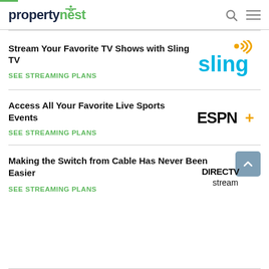propertynest
[Figure (logo): Sling TV logo - blue text with orange signal dots]
Stream Your Favorite TV Shows with Sling TV
SEE STREAMING PLANS
[Figure (logo): ESPN+ logo in black and yellow]
Access All Your Favorite Live Sports Events
SEE STREAMING PLANS
[Figure (logo): DIRECTV stream logo in black]
Making the Switch from Cable Has Never Been Easier
SEE STREAMING PLANS